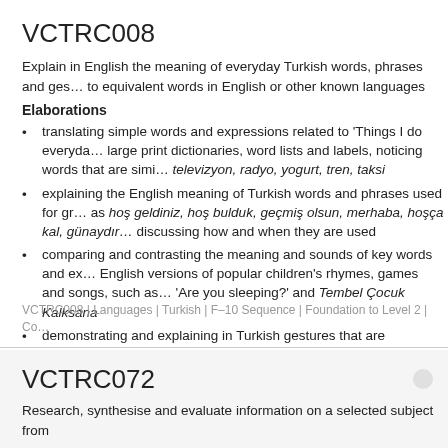VCTRC008
Explain in English the meaning of everyday Turkish words, phrases and gestures, and relate them to equivalent words in English or other known languages
Elaborations
translating simple words and expressions related to 'Things I do everyday' using resources such as large print dictionaries, word lists and labels, noticing words that are similar to English words, for example televizyon, radyo, yogurt, tren, taksi
explaining the English meaning of Turkish words and phrases used for greetings and farewells, such as hoş geldiniz, hoş bulduk, geçmiş olsun, merhaba, hoşça kal, günaydın, and discussing how and when they are used
comparing and contrasting the meaning and sounds of key words and expressions in Turkish and English versions of popular children's rhymes, games and songs, such as 'Are you sleeping?' and Tembel Çocuk Kalksana
demonstrating and explaining in Turkish gestures that are associated with showing respect, such as by kissing their hand and placing it on the forehead to show respect
noticing words or expressions in Turkish that are not easy to translate into English because of cultural meanings, for example, Ellerine sağlık. Çok yaşa! Sen de gör! Geçmiş olsun
VCTRC008 | Languages | Turkish | F–10 Sequence | Foundation to Level 2 | Con
VCTRC072
Research, synthesise and evaluate information on a selected subject from